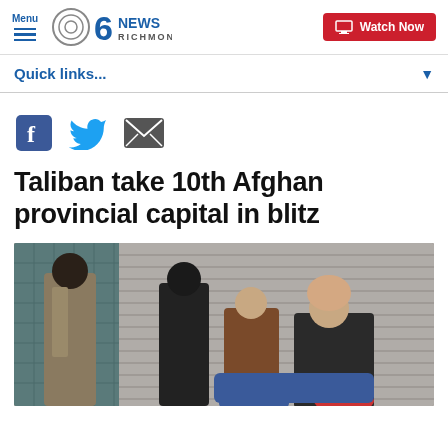Menu | CBS 6 News Richmond | Watch Now
Quick links...
[Figure (other): Social sharing icons: Facebook, Twitter, Email]
Taliban take 10th Afghan provincial capital in blitz
[Figure (photo): Photo of armed Taliban fighters, one standing facing others who are seated on a motorcycle near a shuttered storefront]